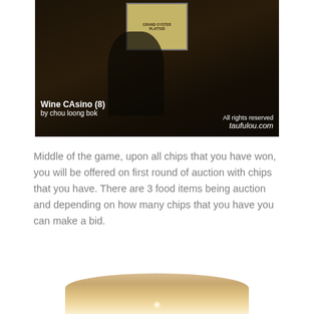[Figure (photo): Dark indoor photo of a presenter in front of a projection screen showing 'GRAND OYSTER PLATTER'. Watermark text: 'Wine CAsino (8) by chou loong bok' on the left and 'All rights reserved taufulou.com' on the right.]
Middle of the game, upon all chips that you have won, you will be offered on first round of auction with chips that you have. There are 3 food items being auction and depending on how many chips that you have you can make a bid.
[Figure (photo): Partial photo of a round white plate or bowl, warm lit background.]